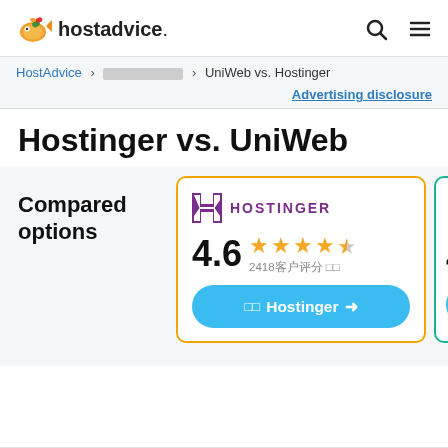hostadvice.
HostAdvice > [tofu] > UniWeb vs. Hostinger
Advertising disclosure
Hostinger vs. UniWeb
Compared options
[Figure (other): Hostinger comparison card showing logo, 4.6 star rating with 2418 reviews, and a Visit Hostinger button]
[Figure (other): Partial UniWeb comparison card showing logo and 4.x rating (cut off)]